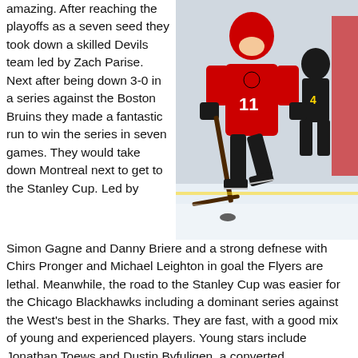amazing. After reaching the playoffs as a seven seed they took down a skilled Devils team led by Zach Parise. Next after being down 3-0 in a series against the Boston Bruins they made a fantastic run to win the series in seven games. They would take down Montreal next to get to the Stanley Cup. Led by Simon Gagne and Danny Briere and a strong defnese with Chirs Pronger and Michael Leighton in goal the Flyers are lethal. Meanwhile, the road to the Stanley Cup was easier for the Chicago Blackhawks including a dominant series against the West's best in the Sharks. They are fast, with a good mix of young and experienced players. Young stars include Jonathan Toews and Dustin Byfuligen, a converted defensemen. Old stars include
[Figure (photo): Hockey player wearing Chicago Blackhawks red jersey number 11, skating on ice, leaning forward with a hockey stick, with a Boston Bruins player visible in the background.]